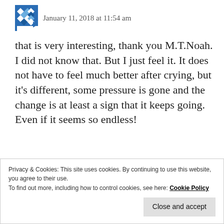January 11, 2018 at 11:54 am
that is very interesting, thank you M.T.Noah. I did not know that. But I just feel it. It does not have to feel much better after crying, but it’s different, some pressure is gone and the change is at least a sign that it keeps going. Even if it seems so endless!
Privacy & Cookies: This site uses cookies. By continuing to use this website, you agree to their use.
To find out more, including how to control cookies, see here: Cookie Policy
Close and accept